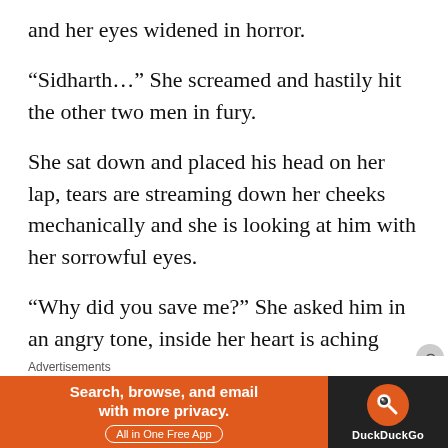and her eyes widened in horror.
“Sidharth…” She screamed and hastily hit the other two men in fury.
She sat down and placed his head on her lap, tears are streaming down her cheeks mechanically and she is looking at him with her sorrowful eyes.
“Why did you save me?” She asked him in an angry tone, inside her heart is aching profoundly. She doesn’t want to lose him. For the first time in her life, she is afraid, afraid to
Advertisements
[Figure (other): DuckDuckGo advertisement banner: orange background with text 'Search, browse, and email with more privacy. All in One Free App' and DuckDuckGo logo on dark background.]